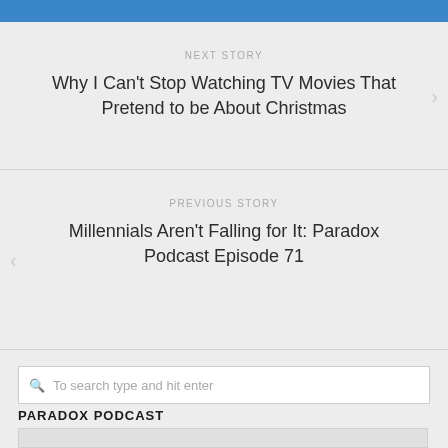NEXT STORY
Why I Can't Stop Watching TV Movies That Pretend to be About Christmas
PREVIOUS STORY
Millennials Aren't Falling for It: Paradox Podcast Episode 71
To search type and hit enter
PARADOX PODCAST
[Figure (other): Podcast image placeholder box]